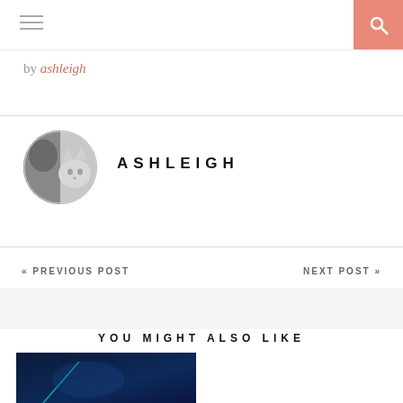by ashleigh
[Figure (photo): Circular avatar photo of a person with a cat, black and white]
ASHLEIGH
« PREVIOUS POST
NEXT POST »
YOU MIGHT ALSO LIKE
[Figure (photo): Dark blue abstract image used as a post thumbnail]